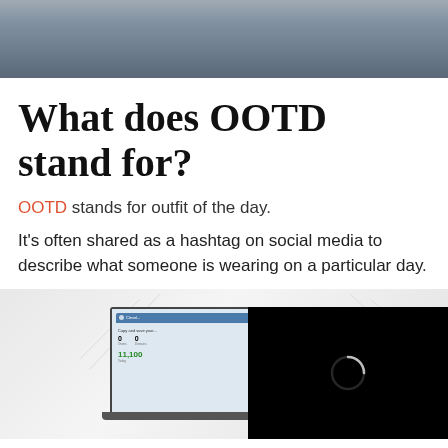[Figure (photo): Top cropped photo of a person wearing denim/grey clothing, showing torso area]
What does OOTD stand for?
OOTD stands for outfit of the day.
It's often shared as a hashtag on social media to describe what someone is wearing on a particular day.
[Figure (screenshot): Screenshot showing a laptop with a dashboard/analytics interface and a black video overlay with a loading spinner circle]